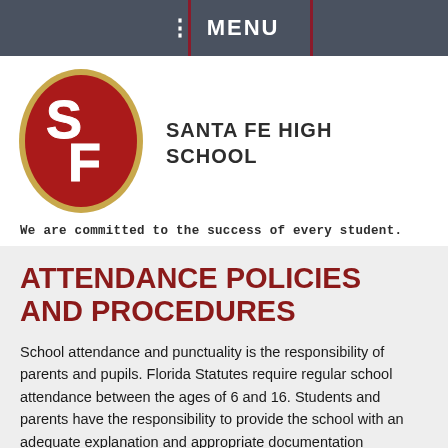MENU
[Figure (logo): Santa Fe High School oval logo with red background and white SF letters, gold border]
SANTA FE HIGH SCHOOL
We are committed to the success of every student.
ATTENDANCE POLICIES AND PROCEDURES
School attendance and punctuality is the responsibility of parents and pupils. Florida Statutes require regular school attendance between the ages of 6 and 16. Students and parents have the responsibility to provide the school with an adequate explanation and appropriate documentation indicating the reason(s) for an absence.